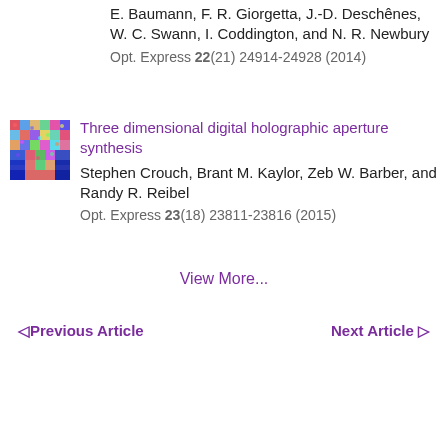E. Baumann, F. R. Giorgetta, J.-D. Deschênes, W. C. Swann, I. Coddington, and N. R. Newbury
Opt. Express 22(21) 24914-24928 (2014)
[Figure (photo): Thumbnail image showing a colorful speckled holographic pattern with red, blue, green and yellow colors]
Three dimensional digital holographic aperture synthesis
Stephen Crouch, Brant M. Kaylor, Zeb W. Barber, and Randy R. Reibel
Opt. Express 23(18) 23811-23816 (2015)
View More...
◁ Previous Article
Next Article ▷